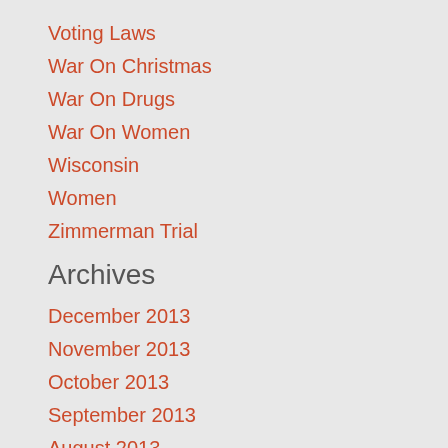Voting Laws
War On Christmas
War On Drugs
War On Women
Wisconsin
Women
Zimmerman Trial
Archives
December 2013
November 2013
October 2013
September 2013
August 2013
July 2013
June 2013
May 2013
RSS Feed